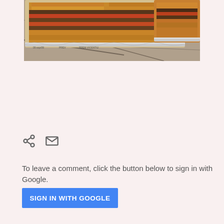[Figure (photo): Food photo showing two aluminum foil trays containing layered pastry or sandwich items (possibly eggplant or moussaka style), sitting on a dark granite countertop. The image is cropped showing only the upper portion.]
[Figure (infographic): Social share icon (two connected circles with lines) and email/envelope icon in gray, used as sharing action buttons.]
To leave a comment, click the button below to sign in with Google.
SIGN IN WITH GOOGLE